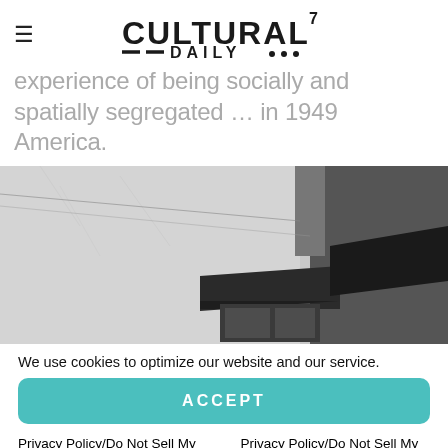CULTURAL7 DAILY
experience of being socially and spatially segregated … in 1949 America.
[Figure (photo): Black and white photograph of building facades with awnings, 1949 America]
We use cookies to optimize our website and our service.
ACCEPT
Privacy Policy/Do Not Sell My Personal Information
Privacy Policy/Do Not Sell My Personal Information